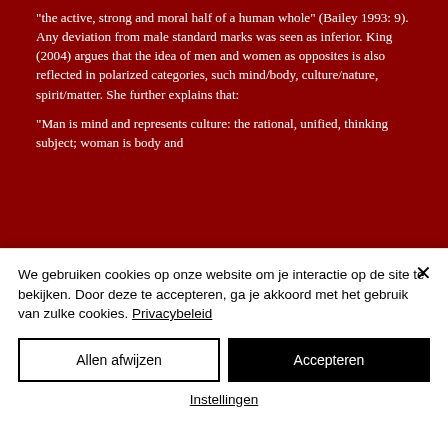“the active, strong and moral half of a human whole” (Bailey 1993: 9). Any deviation from male standard marks was seen as inferior. King (2004) argues that the idea of men and women as opposites is also reflected in polarized categories, such mind/body, culture/nature, spirit/matter. She further explains that:
“Man is mind and represents culture: the rational, unified, thinking subject; woman is body and
We gebruiken cookies op onze website om je interactie op de site te bekijken. Door deze te accepteren, ga je akkoord met het gebruik van zulke cookies. Privacybeleid